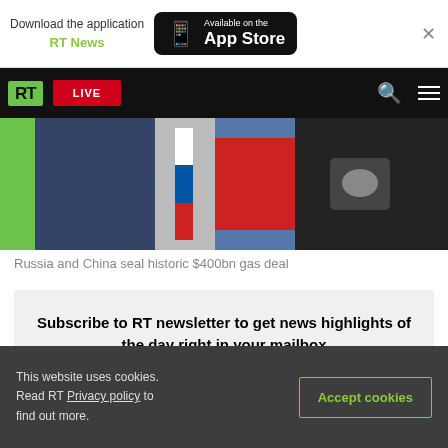Download the application RT News — Available on the App Store
[Figure (screenshot): RT news website header with navigation bar showing RT logo, LIVE button, search and menu icons]
[Figure (photo): Russia and China leaders shaking hands with Russian and Chinese flags visible]
Russia and China seal historic $400bn gas deal
Subscribe to RT newsletter to get news highlights of the day right in your mailbox
This website uses cookies. Read RT Privacy policy to find out more.